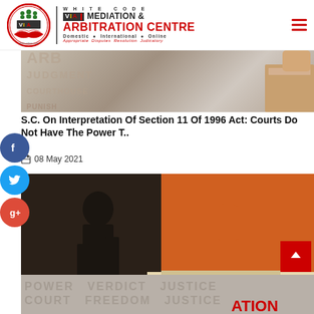[Figure (logo): White Code VIA Mediation & Arbitration Centre logo with circular emblem, vertical divider, and brand text]
S.C. On Interpretation Of Section 11 Of 1996 Act: Courts Do Not Have The Power T..
08 May 2021
[Figure (photo): Photo of a person in orange prison jumpsuit being processed by a law enforcement officer in a courtroom]
Concept Of Plea Bargaining In The United States Of America: A Brief Analysis..
07 May 2021
[Figure (photo): Background image with legal terms: POWER VERDICT JUSTICE LIBERTY COURT FREEDOM JUSTICE with red ATION text]